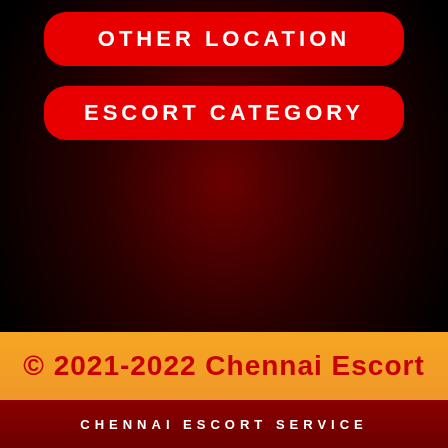OTHER LOCATION
ESCORT CATEGORY
© 2021-2022 Chennai Escort
CHENNAI ESCORT SERVICE